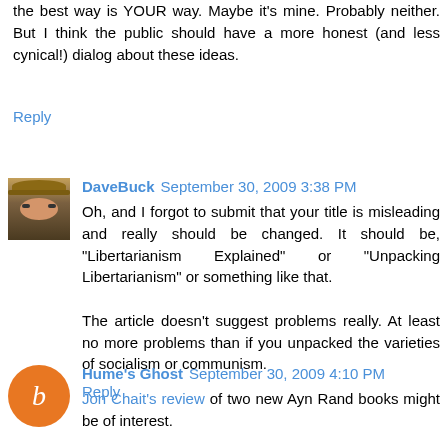the best way is YOUR way. Maybe it's mine. Probably neither. But I think the public should have a more honest (and less cynical!) dialog about these ideas.
Reply
DaveBuck September 30, 2009 3:38 PM
Oh, and I forgot to submit that your title is misleading and really should be changed. It should be, "Libertarianism Explained" or "Unpacking Libertarianism" or something like that.

The article doesn't suggest problems really. At least no more problems than if you unpacked the varieties of socialism or communism.
Reply
Hume's Ghost September 30, 2009 4:10 PM
Jon Chait's review of two new Ayn Rand books might be of interest.